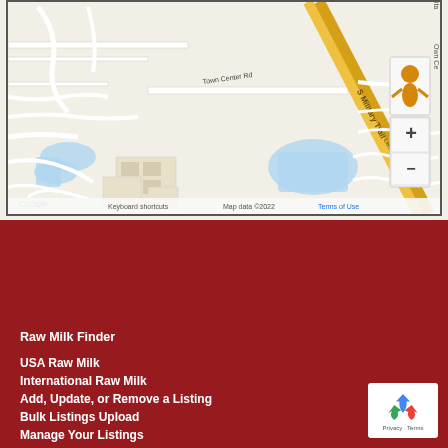[Figure (map): Google Maps screenshot showing S Military Trail area with Town Center Rd and Lennox Dr intersections, with zoom controls and Street View icon. Map data ©2022. Shows roads, water features, and buildings.]
Raw Milk Finder
USA Raw Milk
International Raw Milk
Add, Update, or Remove a Listing
Bulk Listings Upload
Manage Your Listings